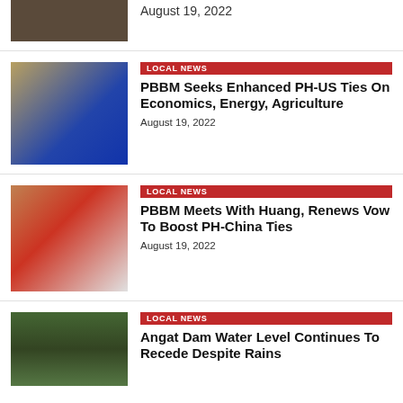[Figure (photo): Top partial news item thumbnail showing shelves/storage area]
August 19, 2022
[Figure (photo): Two men shaking hands in front of a Philippine flag with sun seal]
LOCAL NEWS
PBBM Seeks Enhanced PH-US Ties On Economics, Energy, Agriculture
August 19, 2022
[Figure (photo): Group meeting scene with people in red and white shirts, Philippine flag in background]
LOCAL NEWS
PBBM Meets With Huang, Renews Vow To Boost PH-China Ties
August 19, 2022
[Figure (photo): Angat Dam water structure surrounded by trees and vegetation]
LOCAL NEWS
Angat Dam Water Level Continues To Recede Despite Rains